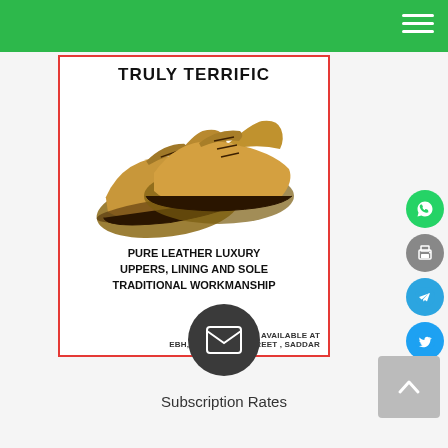[Figure (illustration): Advertisement for leather shoes: 'TRULY TERRIFIC' heading, tan/brown leather oxford shoes image, text 'PURE LEATHER LUXURY UPPERS, LINING AND SOLE TRADITIONAL WORKMANSHIP', footer 'ONLY AVAILABLE AT EBH, ZAIBUNISSA STREET, SADDAR']
[Figure (infographic): Social media icons on right side: WhatsApp (green), Print (gray), Telegram (blue), Twitter (blue)]
[Figure (infographic): Dark circular email/envelope icon]
Subscription Rates
[Figure (infographic): Gray scroll-to-top button with upward chevron arrow]